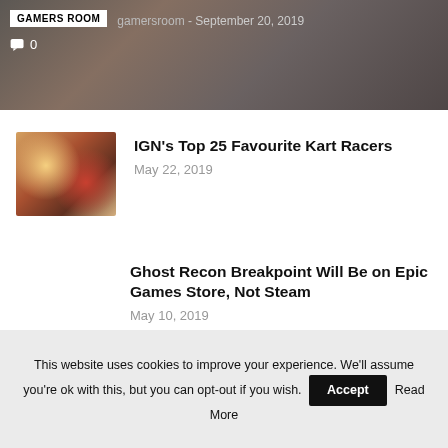[Figure (screenshot): Hero banner with GAMERS ROOM tag, 'gamersroom - September 20, 2019' text, comment icon with 0, dark gaming background image]
IGN's Top 25 Favourite Kart Racers
May 22, 2019
Ghost Recon Breakpoint Will Be on Epic Games Store, Not Steam
May 10, 2019
The Last Call for Star Wars Celebration Chicago 2019 Store
July 11, 2019
This website uses cookies to improve your experience. We'll assume you're ok with this, but you can opt-out if you wish. Accept Read More